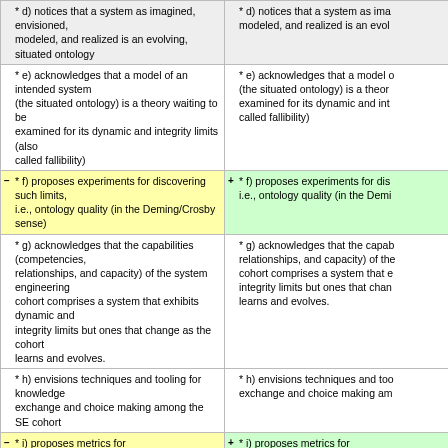| Left column (diff removed) | Right column (diff added) |
| --- | --- |
| * d) notices that a system as imagined, envisioned, modeled, and realized is an evolving, situated ontology | * d) notices that a system as imagined, envisioned, modeled, and realized is an evolving, situated ontology |
| * e) acknowledges that a model of an intended system (the situated ontology) is a theory waiting to be examined for its dynamic and integrity limits (also called fallibility) | * e) acknowledges that a model of an intended system (the situated ontology) is a theory waiting to be examined for its dynamic and integrity limits (also called fallibility) |
| - * f) proposes experiments for discovering such limits, i.e., ontology quality (in the Deming/Crosby sense) | + * f) proposes experiments for discovering such limits, i.e., ontology quality (in the Deming/Crosby sense) |
| * g) acknowledges that the capabilities (competencies, relationships, and capacity) of the system engineering cohort comprises a system that exhibits dynamic and integrity limits but ones that change as the cohort learns and evolves. | * g) acknowledges that the capabilities (competencies, relationships, and capacity) of the system engineering cohort comprises a system that exhibits dynamic and integrity limits but ones that change as the cohort learns and evolves. |
| * h) envisions techniques and tooling for knowledge exchange and choice making among the SE cohort | * h) envisions techniques and tooling for knowledge exchange and choice making among the SE cohort |
| - * i) proposes metrics for | + * i) proposes metrics for |
| - ** 1) quantifying the problem, e.g. Warfield's Situation Complexity Index, | + ** 1) quantifying the problem, e.g. Warfield's Situation Complexity Index, |
| - ** 2) the system design, | + ** 2) the system design, |
| - ** 3) the system realization and | + ** 3) the system realization and |
| ** 4) the system benefit | ** 4) the system benefit |